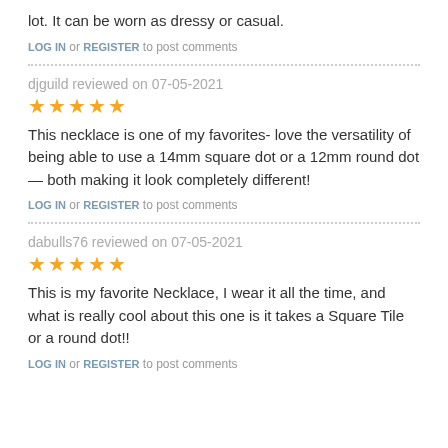lot. It can be worn as dressy or casual.
LOG IN or REGISTER to post comments
djguild reviewed on 07-05-2021
★★★★★
This necklace is one of my favorites- love the versatility of being able to use a 14mm square dot or a 12mm round dot — both making it look completely different!
LOG IN or REGISTER to post comments
dabulls76 reviewed on 07-05-2021
★★★★★
This is my favorite Necklace, I wear it all the time, and what is really cool about this one is it takes a Square Tile or a round dot!!
LOG IN or REGISTER to post comments